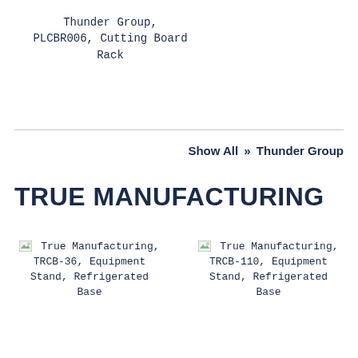Thunder Group, PLCBR006, Cutting Board Rack
Show All » Thunder Group
TRUE MANUFACTURING
[Figure (photo): Broken image placeholder for True Manufacturing, TRCB-36, Equipment Stand, Refrigerated Base]
True Manufacturing, TRCB-36, Equipment Stand, Refrigerated Base
[Figure (photo): Broken image placeholder for True Manufacturing, TRCB-110, Equipment Stand, Refrigerated Base]
True Manufacturing, TRCB-110, Equipment Stand, Refrigerated Base